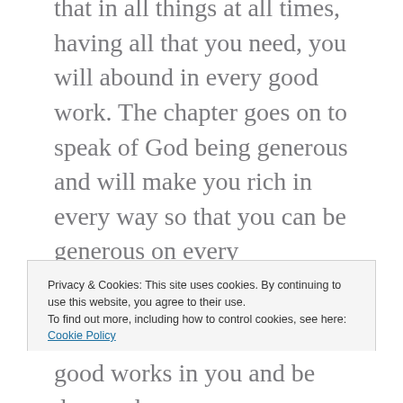that in all things at all times, having all that you need, you will abound in every good work. The chapter goes on to speak of God being generous and will make you rich in every way so that you can be generous on every occasion... verse 11. Maybe your blessings, since we know God has a reason for everything that he does, maybe your blessings were meant
Privacy & Cookies: This site uses cookies. By continuing to use this website, you agree to their use. To find out more, including how to control cookies, see here: Cookie Policy
Close and accept
good works in you and be drawn closer